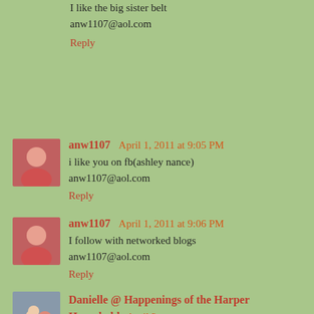I like the big sister belt
anw1107@aol.com
Reply
anw1107  April 1, 2011 at 9:05 PM
i like you on fb(ashley nance)
anw1107@aol.com
Reply
anw1107  April 1, 2011 at 9:06 PM
I follow with networked blogs
anw1107@aol.com
Reply
Danielle @ Happenings of the Harper Household  April 2, 2011 at 11:49 AM